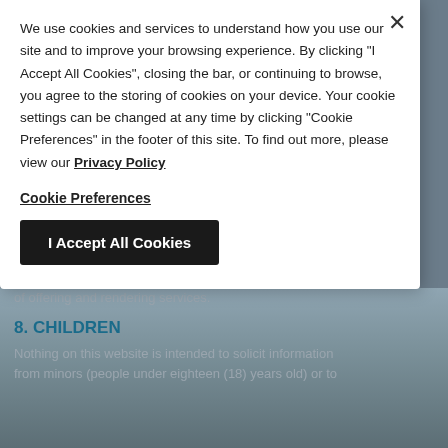processing to reduce returns and fees, prevent fraud, and...
We use cookies and services to understand how you use our site and to improve your browsing experience. By clicking "I Accept All Cookies", closing the bar, or continuing to browse, you agree to the storing of cookies on your device. Your cookie settings can be changed at any time by clicking "Cookie Preferences" in the footer of this site. To find out more, please view our Privacy Policy
Cookie Preferences
I Accept All Cookies
of offering and rendering services.
8. CHILDREN
Nothing on this website is intended to solicit information from minors (people under eighteen (18) years old) or to